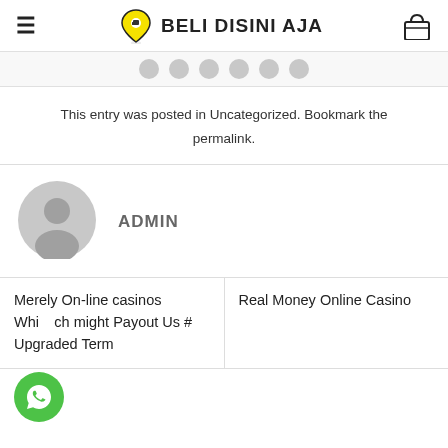BELI DISINI AJA
[Figure (illustration): Row of small grey social media circles/icons]
This entry was posted in Uncategorized. Bookmark the permalink.
[Figure (illustration): Grey default user avatar circle with person silhouette]
ADMIN
Merely On-line casinos Which might Payout Us # Upgraded Term
Real Money Online Casino